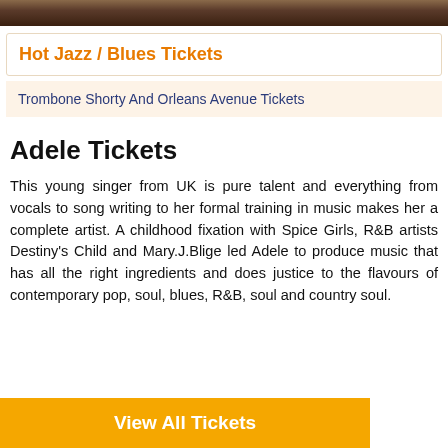[Figure (photo): Top strip showing a partial photo of performers/musicians, cropped to show only a dark sliver at the top of the page.]
Hot Jazz / Blues Tickets
Trombone Shorty And Orleans Avenue Tickets
Adele Tickets
This young singer from UK is pure talent and everything from vocals to song writing to her formal training in music makes her a complete artist. A childhood fixation with Spice Girls, R&B artists Destiny's Child and Mary.J.Blige led Adele to produce music that has all the right ingredients and does justice to the flavours of contemporary pop, soul, blues, R&B, soul and country soul.
View All Tickets